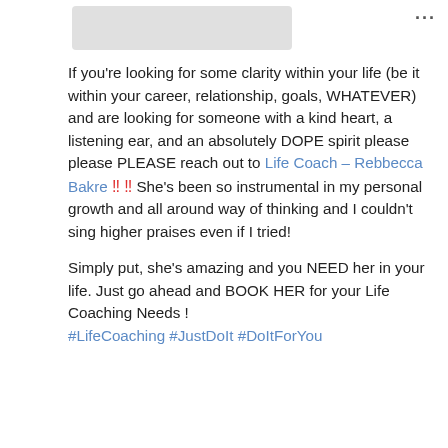[Figure (photo): Gray placeholder image thumbnail at top]
If you're looking for some clarity within your life (be it within your career, relationship, goals, WHATEVER) and are looking for someone with a kind heart, a listening ear, and an absolutely DOPE spirit please please PLEASE reach out to Life Coach – Rebbecca Bakre ‼ ‼ She's been so instrumental in my personal growth and all around way of thinking and I couldn't sing higher praises even if I tried!
Simply put, she's amazing and you NEED her in your life. Just go ahead and BOOK HER for your Life Coaching Needs ! #LifeCoaching #JustDoIt #DoItForYou